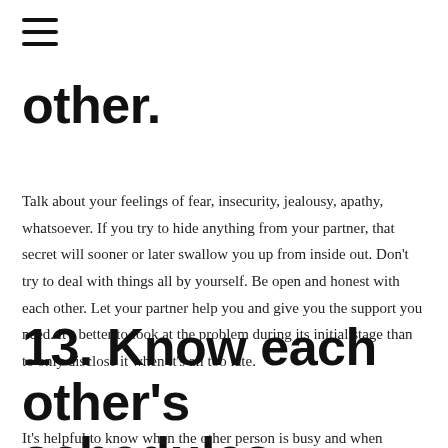other.
Talk about your feelings of fear, insecurity, jealousy, apathy, whatsoever. If you try to hide anything from your partner, that secret will sooner or later swallow you up from inside out. Don’t try to deal with things all by yourself. Be open and honest with each other. Let your partner help you and give you the support you need. it’s better to look at the problem during its initial stage than to only disclose it when it’s all too late.
13. Know each other’s schedules.
It’s helpful to know when the other person is busy and when